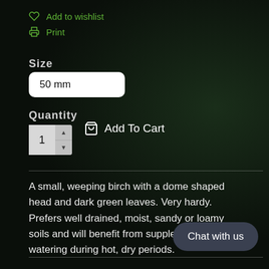Add to wishlist
Print
Size
50 mm
Quantity
1
Add To Cart
A small, weeping birch with a dome shaped head and dark green leaves. Very hardy. Prefers well drained, moist, sandy or loamy soils and will benefit from supplemental watering during hot, dry periods.
Chat with us